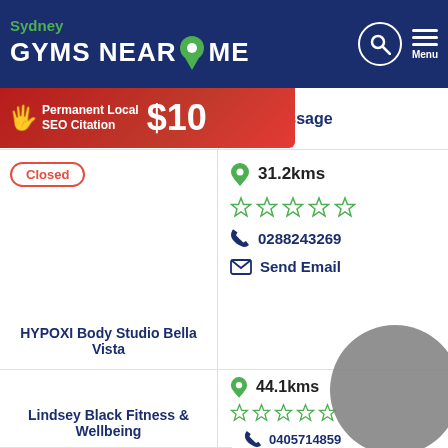[Figure (screenshot): Sydney Gyms Near Me website header with green location pin icon, search icon and menu button]
[Figure (infographic): Red ad banner: Permanent Local SEO Citation $10]
Training Support Systems
Message
Closed
31.2kms
0288243269
Send Email
HYPOXI Body Studio Bella Vista
44.1kms
0405714859
Send Email
Message
Visit Website
Lindsey Black Fitness & Wellbeing